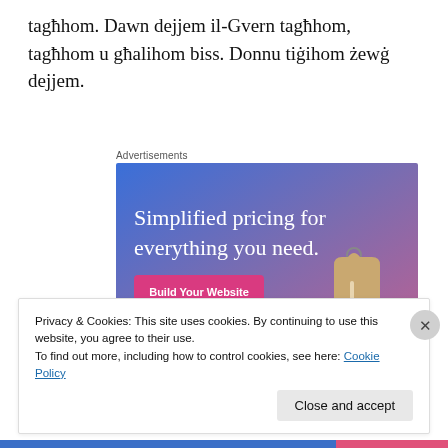tagħhom. Dawn dejjem il-Gvern tagħhom, tagħhom u għalihom biss. Donnu tiġihom żewġ dejjem.
Advertisements
[Figure (illustration): Advertisement banner with gradient blue-purple background showing text 'Simplified pricing for everything you need.' with a pink 'Build Your Website' button and a decorative price tag image.]
Privacy & Cookies: This site uses cookies. By continuing to use this website, you agree to their use. To find out more, including how to control cookies, see here: Cookie Policy